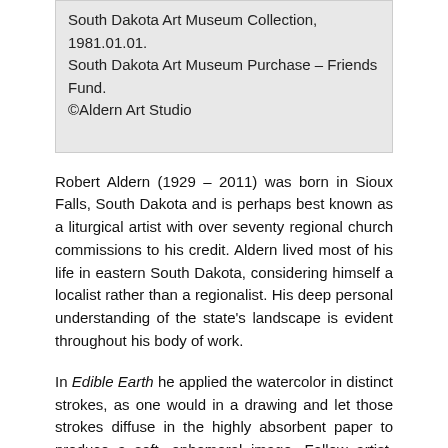South Dakota Art Museum Collection, 1981.01.01. South Dakota Art Museum Purchase – Friends Fund. ©Aldern Art Studio
Robert Aldern (1929 - 2011) was born in Sioux Falls, South Dakota and is perhaps best known as a liturgical artist with over seventy regional church commissions to his credit. Aldern lived most of his life in eastern South Dakota, considering himself a localist rather than a regionalist. His deep personal understanding of the state's landscape is evident throughout his body of work.
In Edible Earth he applied the watercolor in distinct strokes, as one would in a drawing and let those strokes diffuse in the highly absorbent paper to produce a soft, ephemeral image. Fellow artist, Carl Grupp, whose work Grandma's Vase II is included in this exhibition, said, "Just as Harvey Dunn painted the South Dakota landscape in the Impressionism of his time. Aldern retells the landscape in the language of his